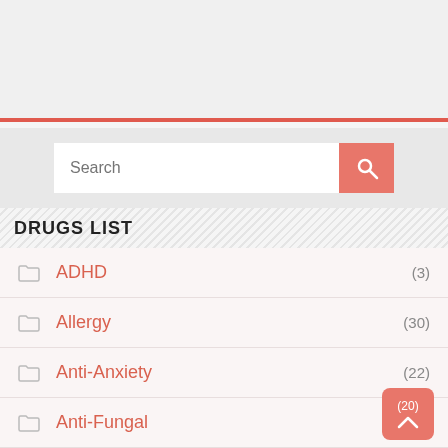[Figure (screenshot): Search bar with text input and red search button with magnifying glass icon]
DRUGS LIST
ADHD (3)
Allergy (30)
Anti-Anxiety (22)
Anti-Fungal (9)
Anti-Viral (20)
Antibiotics (38)
Arthritis (20)